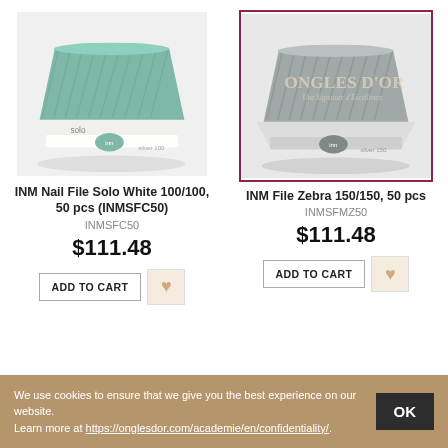[Figure (photo): INM nail file Solo White product photo on light background]
[Figure (photo): INM nail file Zebra product photo inside a magenta/dark-red border frame, with Ongles D'Or watermark]
INM Nail File Solo White 100/100, 50 pcs (INMSFC50)
INM File Zebra 150/150, 50 pcs
INMSFC50
INMSFMZ50
$111.48
$111.48
We use cookies to ensure that we give you the best experience on our website.
Learn more at https://onglesdor.com/academie/en/confidentiality/.